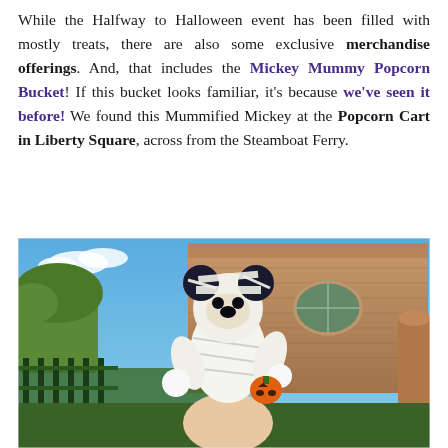While the Halfway to Halloween event has been filled with mostly treats, there are also some exclusive merchandise offerings. And, that includes the Mickey Mummy Popcorn Bucket! If this bucket looks familiar, it's because we've seen it before! We found this Mummified Mickey at the Popcorn Cart in Liberty Square, across from the Steamboat Ferry.
[Figure (photo): A hand holding a Mickey Mouse mummy popcorn bucket figure dressed in white mummy wrappings and holding a small orange jack-o-lantern pumpkin, photographed in front of a large stone Gothic-style building (the Haunted Mansion at Disney World) under a blue sky with green trees and foliage in the background.]